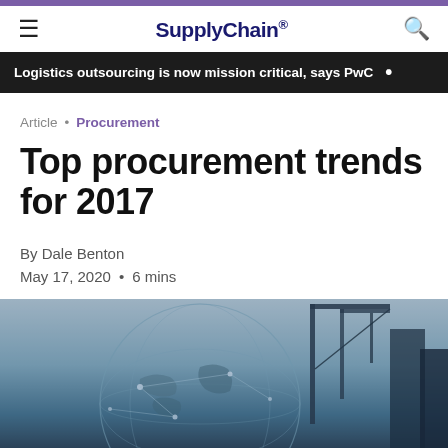SupplyChain.
Logistics outsourcing is now mission critical, says PwC
Article • Procurement
Top procurement trends for 2017
By Dale Benton
May 17, 2020 • 6 mins
[Figure (photo): Industrial scene with cranes and globe network overlay, light blue tones]